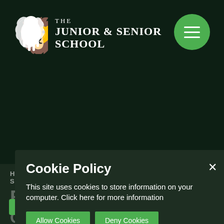[Figure (logo): The Junior & Senior School logo with lion crest and school name in white on dark green background, with green circular hamburger menu button]
Cookie Policy
This site uses cookies to store information on your computer. Click here for more information
Allow Cookies   Deny Cookies
HOME
STUDE...
BWB / Buddies Without
Orders / Club